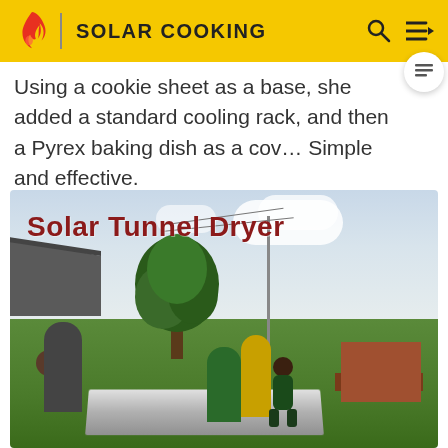SOLAR COOKING
Using a cookie sheet as a base, she added a standard cooling rack, and then a Pyrex baking dish as a cov... Simple and effective.
[Figure (photo): Photo of a Solar Tunnel Dryer with people standing around it outdoors in a rural African setting with trees and buildings in background. Overlay text reads 'Solar Tunnel Dryer' in dark red bold font.]